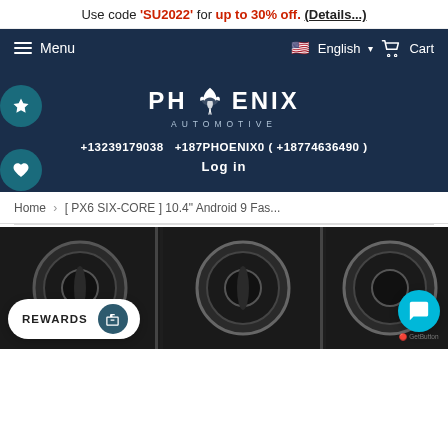Use code 'SU2022' for up to 30% off. (Details...)
Menu  English  Cart
[Figure (logo): Phoenix Automotive logo — stylized phoenix bird above 'PHOENIX AUTOMOTIVE' text in white on dark blue background]
+13239179038  +187PHOENIX0 ( +18774636490 )
Log in
Home > [ PX6 SIX-CORE ] 10.4" Android 9 Fas...
[Figure (photo): Close-up of circular chrome air vents on a car dashboard, dark interior]
REWARDS